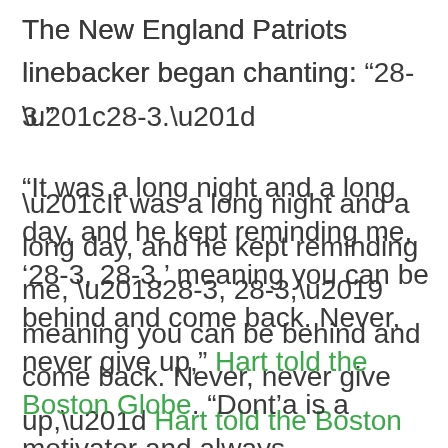The New England Patriots linebacker began chanting: “28-3.” “It was a long night and a long day, and he kept reminding me, ‘28-3, 28-3,’ meaning you can be behind and come back. Never, never give up,” Hart told the Boston Globe. “Dont’a is a motivator and always